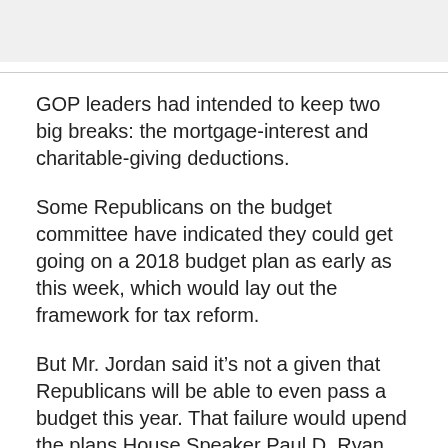GOP leaders had intended to keep two big breaks: the mortgage-interest and charitable-giving deductions.
Some Republicans on the budget committee have indicated they could get going on a 2018 budget plan as early as this week, which would lay out the framework for tax reform.
But Mr. Jordan said it’s not a given that Republicans will be able to even pass a budget this year. That failure would upend the plans House Speaker Paul D. Ryan and